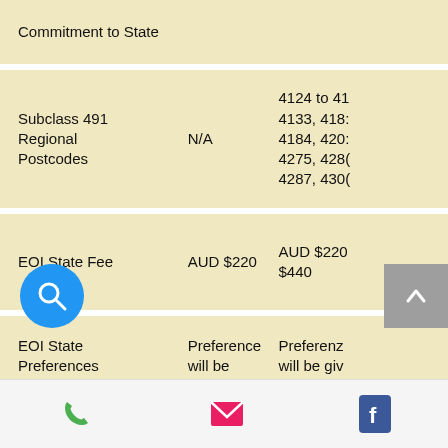|  |  |  |
| --- | --- | --- |
| Commitment to State |  |  |
| Subclass 491 Regional Postcodes | N/A | 4124 to 41 4133, 4183 4184, 4207 4275, 4280 4287, 4306 |
| EOI State Fee | AUD $220 | AUD $220 $440 |
| EOI State Preferences | Preference will be given to applicants who select | Preference will be give to applica who selec |